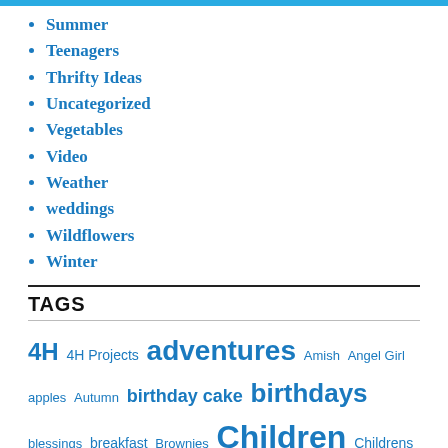Summer
Teenagers
Thrifty Ideas
Uncategorized
Vegetables
Video
Weather
weddings
Wildflowers
Winter
TAGS
4H 4H Projects adventures Amish Angel Girl apples Autumn birthday cake birthdays blessings breakfast Brownies Children Childrens Christmas Program chocolate chocolate chips Christmas cookies Cool Whip Country Living County Fair cousins cream cheese Critters crock pot dating my husband Down's Syndrome Easter faith fall